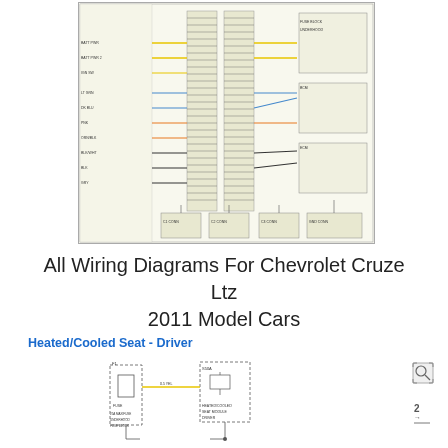[Figure (schematic): Full vehicle wiring diagram schematic for Chevrolet Cruze Ltz 2011, showing multiple colored wire connections between components, connectors, and modules across the entire electrical system.]
All Wiring Diagrams For Chevrolet Cruze Ltz 2011 Model Cars
Heated/Cooled Seat - Driver
[Figure (schematic): Partial wiring schematic for Heated/Cooled Seat - Driver circuit, showing connectors, wires, and component boxes for the driver seat heating and cooling system.]
[Figure (other): Navigation/zoom icon (magnifier with corner arrows)]
[Figure (other): Page navigation arrow icon pointing right with page number indicator]